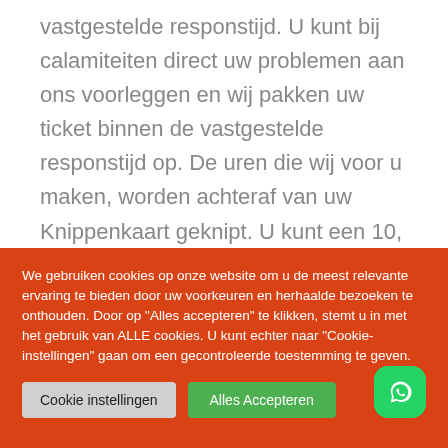vastgestelde responstijd. U kunt bij calamiteiten direct uw problemen aan ons voorleggen en wij pakken uw ticket binnen de vastgestelde responstijd op. De uren die wij voor u maken, worden achteraf van uw Knippenkaart geknipt. U kunt een 10, 20 of 40 uurs Knippenkaart bij ons
We gebruiken cookies op onze website om u de meest relevante ervaring te bieden door uw voorkeuren en herhaalde bezoeken te onthouden. Door op "Alles accepteren" te klikken, stemt u in met het gebruik van ALLE cookies. U kunt echter naar "Cookie-instellingen" gaan om een gecontroleerde toestemming te geven.
Cookie instellingen
Alles Accepteren